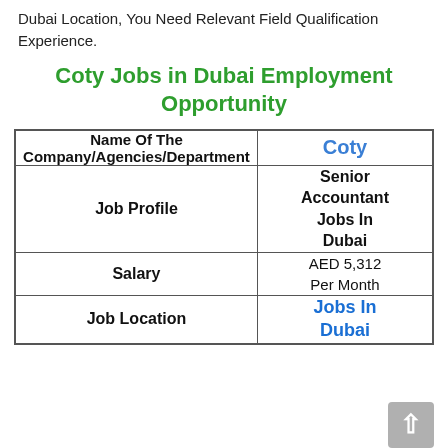Dubai Location, You Need Relevant Field Qualification Experience.
Coty Jobs in Dubai Employment Opportunity
| Name Of The Company/Agencies/Department | Coty |
| --- | --- |
| Job Profile | Senior Accountant Jobs In Dubai |
| Salary | AED 5,312 Per Month |
| Job Location | Jobs In Dubai |